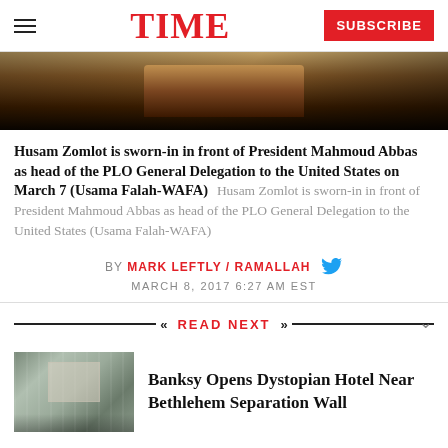TIME | SUBSCRIBE
[Figure (photo): Partial photo of a person being sworn in, showing a wooden podium or desk in the lower portion of the frame against a dark background.]
Husam Zomlot is sworn-in in front of President Mahmoud Abbas as head of the PLO General Delegation to the United States on March 7 (Usama Falah-WAFA)  Husam Zomlot is sworn-in in front of President Mahmoud Abbas as head of the PLO General Delegation to the United States (Usama Falah-WAFA)
BY MARK LEFTLY / RAMALLAH
MARCH 8, 2017 6:27 AM EST
READ NEXT
[Figure (photo): Street scene near Bethlehem with pedestrians and buildings, related to the Walled Off Hotel by Banksy.]
Banksy Opens Dystopian Hotel Near Bethlehem Separation Wall